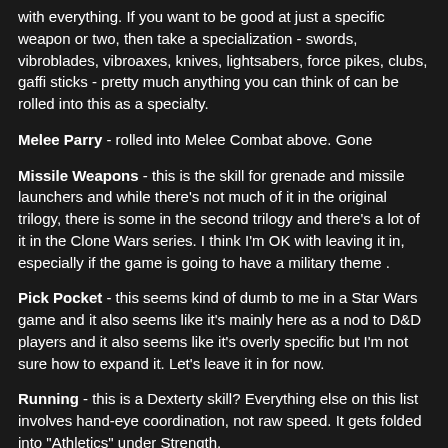with everything. If you want to be good at just a specific weapon or two, then take a specialization - swords, vibroblades, vibroaxes, knives, lightsabers, force pikes, clubs, gaffi sticks - pretty much anything you can think of can be rolled into this as a specialty.
Melee Parry - rolled into Melee Combat above. Gone
Missile Weapons - this is the skill for grenade and missile launchers and while there's not much of it in the original trilogy, there is some in the second trilogy and there's a lot of it in the Clone Wars series. I think I'm OK with leaving it in, especially if the game is going to have a military theme .
Pick Pocket - this seems kind of dumb to me in a Star Wars game and it also seems like it's mainly here as a nod to D&D players and it also seems like it's overly specific but I'm not sure how to expand it. Let's leave it in for now.
Running - this is a Dexterty skill? Everything else on this list involves hand-eye coordination, not raw speed. It gets folded into "Athletics" under Strength.